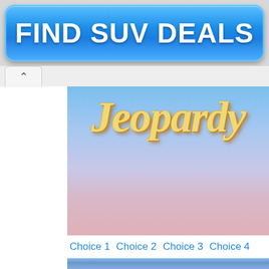[Figure (screenshot): Advertisement banner button with text FIND SUV DEALS on a blue gradient rounded rectangle background]
Choice 1 Choice 2 Choice 3 Choice 4
[Figure (screenshot): Screenshot of a web browser showing two Jeopardy game thumbnails with the Jeopardy logo text in yellow/orange italic font on a blue background, with a navigation back button]
[Figure (screenshot): Second Jeopardy game thumbnail showing Jeopardy logo text in yellow/orange italic font on a blue gradient background]